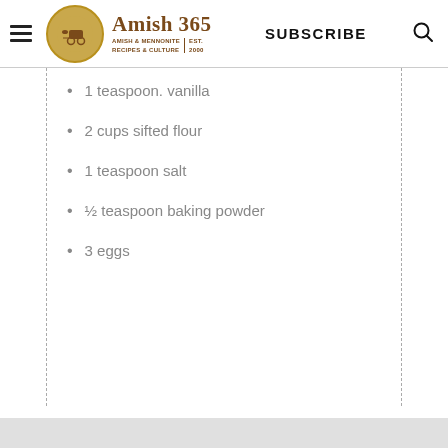Amish 365 – AMISH & MENNONITE RECIPES & CULTURE | EST. 2000 | SUBSCRIBE
1 teaspoon. vanilla
2 cups sifted flour
1 teaspoon salt
½ teaspoon baking powder
3 eggs